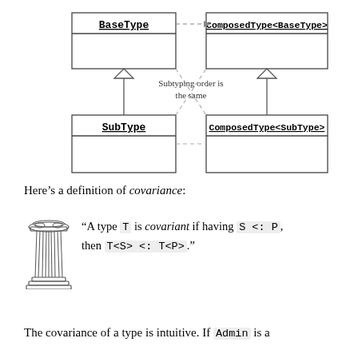[Figure (engineering-diagram): UML covariance diagram showing BaseType and ComposedType<BaseType> at top connected by dashed arrow (subtyping), SubType and ComposedType<SubType> at bottom connected by dashed arrow, hollow triangle inheritance arrows from SubType to BaseType and from ComposedType<SubType> to ComposedType<BaseType>, dashed crossing lines between bottom-left and top-right and bottom-right and top-left, with label 'Subtyping order is the same' in center.]
Here's a definition of covariance:
"A type T is covariant if having S <: P, then T<S> <: T<P>."
The covariance of a type is intuitive. If Admin is a